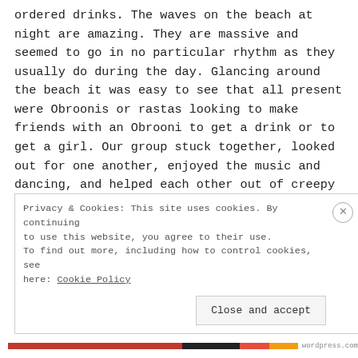ordered drinks. The waves on the beach at night are amazing. They are massive and seemed to go in no particular rhythm as they usually do during the day. Glancing around the beach it was easy to see that all present were Obroonis or rastas looking to make friends with an Obrooni to get a drink or to get a girl. Our group stuck together, looked out for one another, enjoyed the music and dancing, and helped each other out of creepy and potentially bad situations. In the end it was a very fun evening, but this is where the true intentions of our rasta
Privacy & Cookies: This site uses cookies. By continuing to use this website, you agree to their use. To find out more, including how to control cookies, see here: Cookie Policy
Close and accept